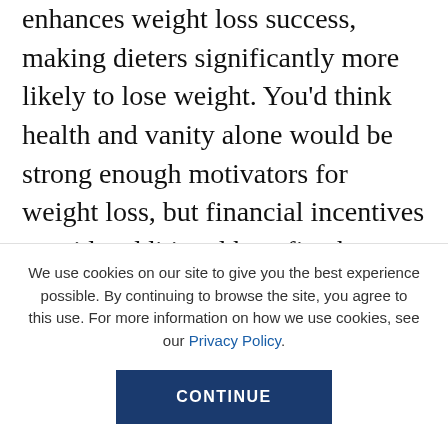enhances weight loss success, making dieters significantly more likely to lose weight. You'd think health and vanity alone would be strong enough motivators for weight loss, but financial incentives provide additional benefits that are critical to success. And in a couple situation, those financial winnings can ultimately benefit both participants. Cash-based challenges are powerful tools that help couples not only commit to a specific starting point (eliminating pre-diet procrastination), but also avoid quitting before they reach a goal diet...
We use cookies on our site to give you the best experience possible. By continuing to browse the site, you agree to this use. For more information on how we use cookies, see our Privacy Policy.
CONTINUE